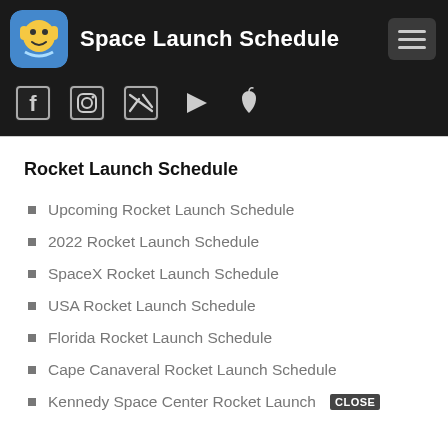Space Launch Schedule
Upcoming Rocket Launch Schedule
2022 Rocket Launch Schedule
SpaceX Rocket Launch Schedule
USA Rocket Launch Schedule
Florida Rocket Launch Schedule
Cape Canaveral Rocket Launch Schedule
Kennedy Space Center Rocket Launch CLOSE